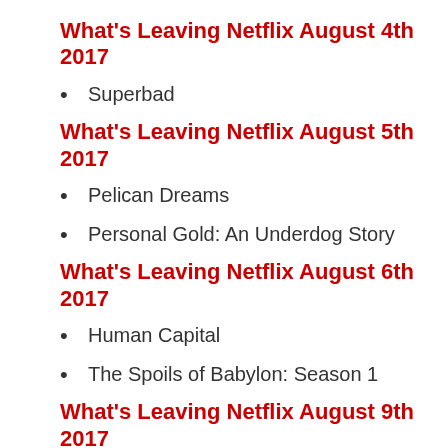What's Leaving Netflix August 4th 2017
Superbad
What's Leaving Netflix August 5th 2017
Pelican Dreams
Personal Gold: An Underdog Story
What's Leaving Netflix August 6th 2017
Human Capital
The Spoils of Babylon: Season 1
What's Leaving Netflix August 9th 2017
The Five Venoms
What's Leaving Netflix August 10th 2017